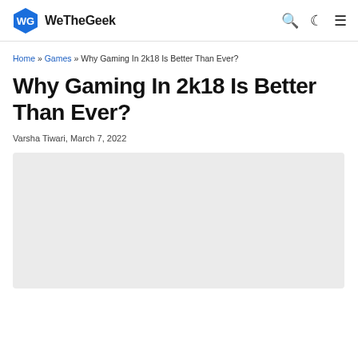WeTheGeek
Home » Games » Why Gaming In 2k18 Is Better Than Ever?
Why Gaming In 2k18 Is Better Than Ever?
Varsha Tiwari, March 7, 2022
[Figure (photo): Light gray image placeholder rectangle below article byline]